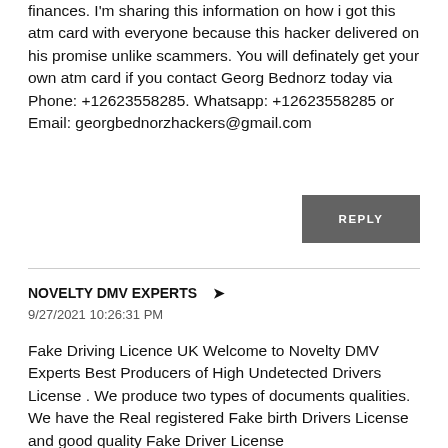finances. I'm sharing this information on how i got this atm card with everyone because this hacker delivered on his promise unlike scammers. You will definately get your own atm card if you contact Georg Bednorz today via Phone: +12623558285. Whatsapp: +12623558285 or Email: georgbednorzhackers@gmail.com
REPLY
NOVELTY DMV EXPERTS ➤
9/27/2021 10:26:31 PM
Fake Driving Licence UK Welcome to Novelty DMV Experts Best Producers of High Undetected Drivers License . We produce two types of documents qualities. We have the Real registered Fake birth Drivers License and good quality Fake Driver License